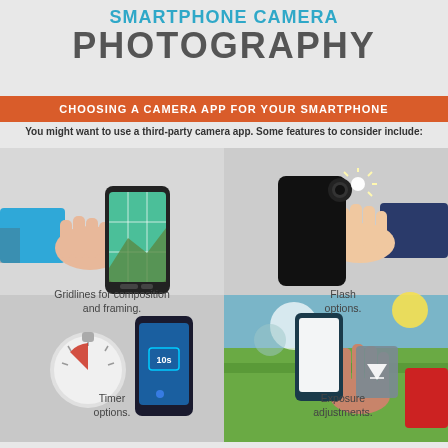SMARTPHONE CAMERA PHOTOGRAPHY
CHOOSING A CAMERA APP FOR YOUR SMARTPHONE
You might want to use a third-party camera app. Some features to consider include:
[Figure (infographic): Four illustrated panels: 1) Hand holding a smartphone with a grid overlay showing gridlines for composition. 2) Hand holding a smartphone with flash light on. 3) Smartphone showing a 10-second timer countdown with a kitchen timer beside it. 4) Hand holding a smartphone outdoors with an exposure adjustment slider.]
Gridlines for composition and framing.
Flash options.
Timer options.
Exposure adjustments.